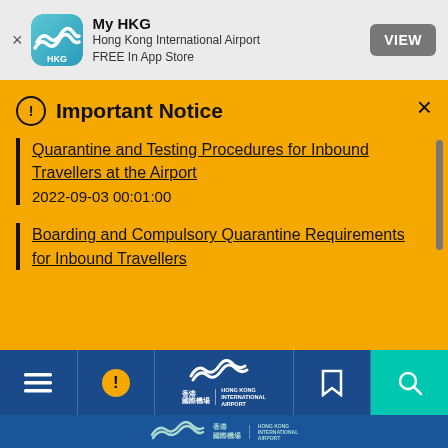[Figure (screenshot): App store banner for My HKG - Hong Kong International Airport app, FREE In App Store, with VIEW button]
Important Notice
Quarantine and Testing Procedures for Inbound Travellers at the Airport
2022-09-03 00:01:00
Boarding and Compulsory Quarantine Requirements for Inbound Travellers
[Figure (logo): Hong Kong International Airport navigation bar with menu, alert, logo, bookmark, and search icons]
[Figure (logo): Hong Kong International Airport logo on blue background - 香港國際機場 HONG KONG INTERNATIONAL AIRPORT]